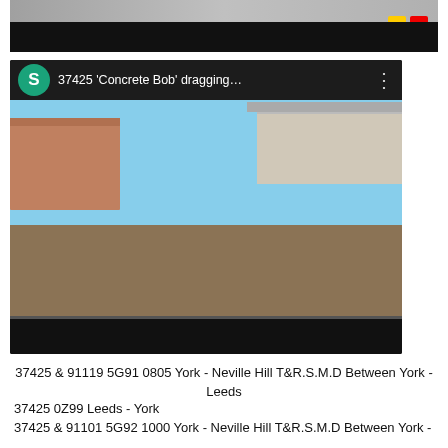[Figure (screenshot): Top portion of a YouTube video embed showing a train/railway scene, partially cut off at top of page with black bar]
[Figure (screenshot): YouTube video embed titled '37425 Concrete Bob dragging...' with a green S avatar icon, showing a Class 37 locomotive in Regional Railways livery at a station, with red YouTube play button overlay]
37425 & 91119 5G91 0805 York - Neville Hill T&R.S.M.D Between York - Leeds
37425 0Z99 Leeds - York
37425 & 91101 5G92 1000 York - Neville Hill T&R.S.M.D Between York -